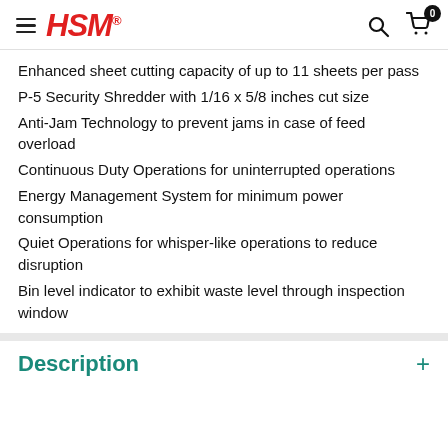HSM
Enhanced sheet cutting capacity of up to 11 sheets per pass
P-5 Security Shredder with 1/16 x 5/8 inches cut size
Anti-Jam Technology to prevent jams in case of feed overload
Continuous Duty Operations for uninterrupted operations
Energy Management System for minimum power consumption
Quiet Operations for whisper-like operations to reduce disruption
Bin level indicator to exhibit waste level through inspection window
Description